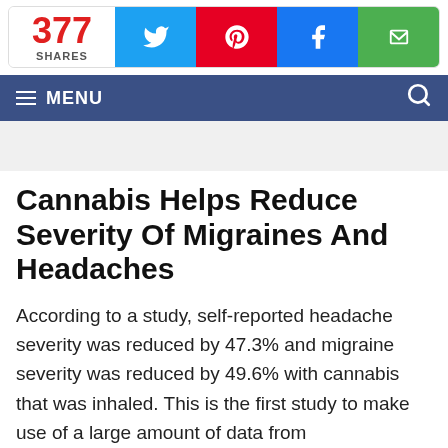[Figure (infographic): Social share bar showing 377 shares with Twitter, Pinterest, Facebook, and email buttons]
≡ MENU
Cannabis Helps Reduce Severity Of Migraines And Headaches
According to a study, self-reported headache severity was reduced by 47.3% and migraine severity was reduced by 49.6% with cannabis that was inhaled. This is the first study to make use of a large amount of data from